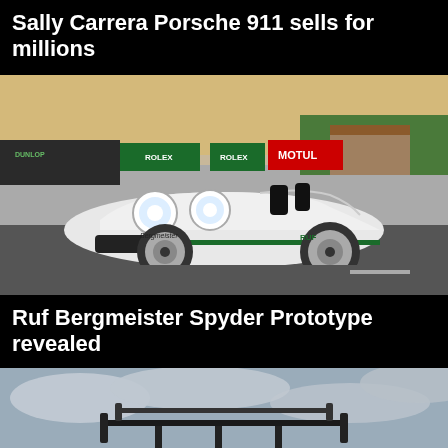Sally Carrera Porsche 911 sells for millions
[Figure (photo): White Ruf Bergmeister Spyder sports car parked on a racetrack with Rolex and Motul advertising boards in the background]
Ruf Bergmeister Spyder Prototype revealed
[Figure (photo): Close-up of rear wing/spoiler of a racing car against a cloudy sky]